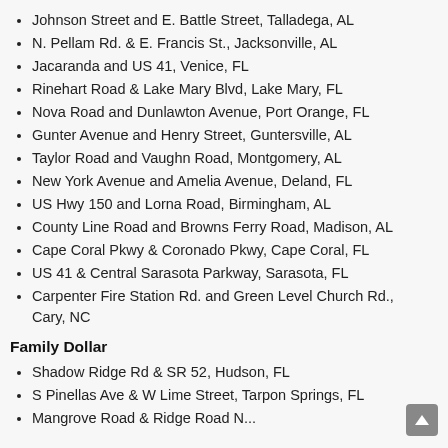Johnson Street and E. Battle Street, Talladega, AL
N. Pellam Rd. & E. Francis St., Jacksonville, AL
Jacaranda and US 41, Venice, FL
Rinehart Road & Lake Mary Blvd, Lake Mary, FL
Nova Road and Dunlawton Avenue, Port Orange, FL
Gunter Avenue and Henry Street, Guntersville, AL
Taylor Road and Vaughn Road, Montgomery, AL
New York Avenue and Amelia Avenue, Deland, FL
US Hwy 150 and Lorna Road, Birmingham, AL
County Line Road and Browns Ferry Road, Madison, AL
Cape Coral Pkwy & Coronado Pkwy, Cape Coral, FL
US 41 & Central Sarasota Parkway, Sarasota, FL
Carpenter Fire Station Rd. and Green Level Church Rd., Cary, NC
Family Dollar
Shadow Ridge Rd & SR 52, Hudson, FL
S Pinellas Ave & W Lime Street, Tarpon Springs, FL
Mangrove Road & Ridge Road (partial, cut off)